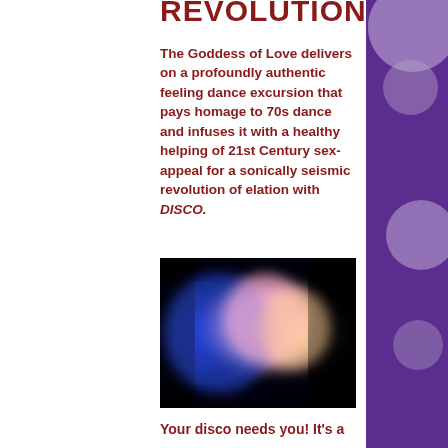Revolution
The Goddess of Love delivers on a profoundly authentic feeling dance excursion that pays homage to 70s dance and infuses it with a healthy helping of 21st Century sex-appeal for a sonically seismic revolution of elation with DISCO.
[Figure (photo): A blurred colorful photograph showing abstract blue, pink, peach, and black color areas suggesting a dance or performance scene]
Your disco needs you! It's a